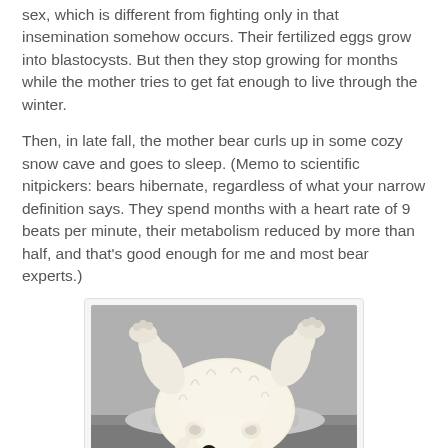sex, which is different from fighting only in that insemination somehow occurs. Their fertilized eggs grow into blastocysts. But then they stop growing for months while the mother tries to get fat enough to live through the winter.
Then, in late fall, the mother bear curls up in some cozy snow cave and goes to sleep. (Memo to scientific nitpickers: bears hibernate, regardless of what your narrow definition says. They spend months with a heart rate of 9 beats per minute, their metabolism reduced by more than half, and that's good enough for me and most bear experts.)
[Figure (photo): A fluffy white polar bear cub lying on its back on a rocky/snowy surface, looking at the camera.]